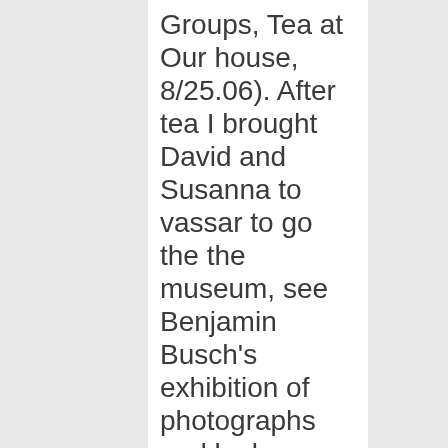Groups, Tea at Our house, 8/25.06). After tea I brought David and Susanna to vassar to go the the museum, see Benjamin Busch's exhibition of photographs and look around. After we got back the four of us went to Tom Nozkowski and Joyce Robin's house for dinner for